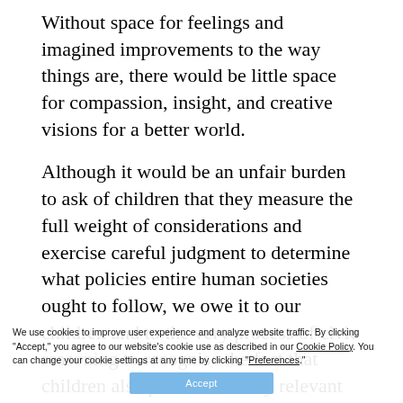Without space for feelings and imagined improvements to the way things are, there would be little space for compassion, insight, and creative visions for a better world.
Although it would be an unfair burden to ask of children that they measure the full weight of considerations and exercise careful judgment to determine what policies entire human societies ought to follow, we owe it to our children and to the very process of civic reasoning to recognise the fact that children also possess morally relevant feelings and ideas to which serious consideration is due. Not only that, children learn best when they are taken seriously, so how better to learn how to deliberate about civic life than by actually doing it